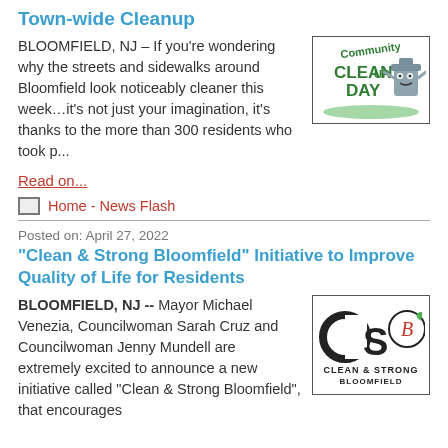Town-wide Cleanup
BLOOMFIELD, NJ – If you're wondering why the streets and sidewalks around Bloomfield look noticeably cleaner this week…it's not just your imagination, it's thanks to the more than 300 residents who took p...
[Figure (logo): Community Clean Day logo with cartoon trash can character and green text]
Read on...
Home - News Flash
Posted on: April 27, 2022
"Clean & Strong Bloomfield" Initiative to Improve Quality of Life for Residents
BLOOMFIELD, NJ -- Mayor Michael Venezia, Councilwoman Sarah Cruz and Councilwoman Jenny Mundell are extremely excited to announce a new initiative called "Clean & Strong Bloomfield", that encourages
[Figure (logo): Clean & Strong Bloomfield logo with CS letters and Bloomfield text]